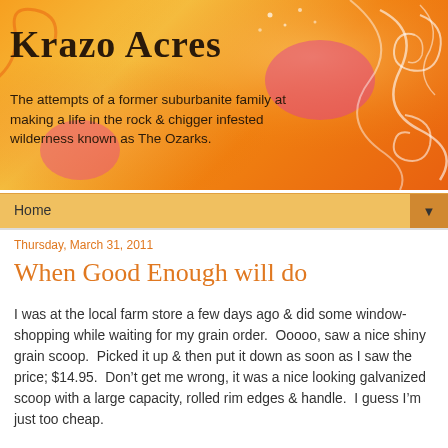Krazo Acres
The attempts of a former suburbanite family at making a life in the rock & chigger infested wilderness known as The Ozarks.
Home
Thursday, March 31, 2011
When Good Enough will do
I was at the local farm store a few days ago & did some window-shopping while waiting for my grain order.  Ooooo, saw a nice shiny grain scoop.  Picked it up & then put it down as soon as I saw the price; $14.95.  Don't get me wrong, it was a nice looking galvanized scoop with a large capacity, rolled rim edges & handle.  I guess I'm just too cheap.